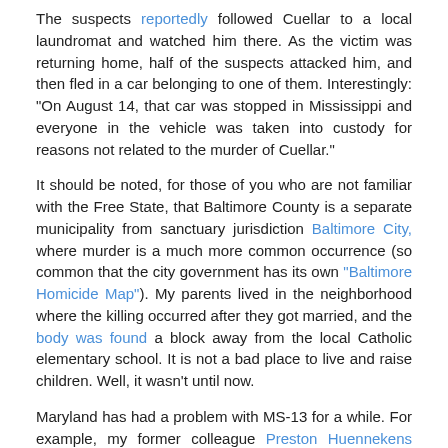The suspects reportedly followed Cuellar to a local laundromat and watched him there. As the victim was returning home, half of the suspects attacked him, and then fled in a car belonging to one of them. Interestingly: "On August 14, that car was stopped in Mississippi and everyone in the vehicle was taken into custody for reasons not related to the murder of Cuellar."
It should be noted, for those of you who are not familiar with the Free State, that Baltimore County is a separate municipality from sanctuary jurisdiction Baltimore City, where murder is a much more common occurrence (so common that the city government has its own "Baltimore Homicide Map"). My parents lived in the neighborhood where the killing occurred after they got married, and the body was found a block away from the local Catholic elementary school. It is not a bad place to live and raise children. Well, it wasn't until now.
Maryland has had a problem with MS-13 for a while. For example, my former colleague Preston Huennekens reported in July 2018 on a federal indictment that had been handed down by a Baltimore grand jury charging 24 members of the gang with various offenses, including 11 who were indicted for conspiracy to commit murder.
The ICE press release related to that incident stated: